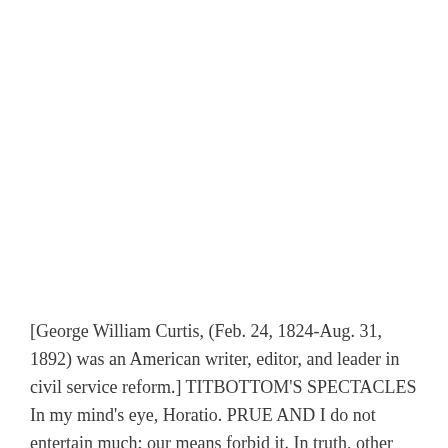[George William Curtis, (Feb. 24, 1824-Aug. 31, 1892) was an American writer, editor, and leader in civil service reform.] TITBOTTOM'S SPECTACLES In my mind's eye, Horatio. PRUE AND I do not entertain much; our means forbid it. In truth, other people entertain us. We enjoy that